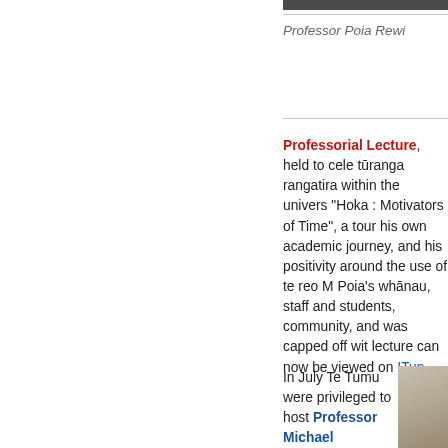[Figure (photo): Partial photo at top right, cropped]
Professor Poia Rewi
Professorial Lecture, held to celebrate his tūranga rangatira within the university. Titled "Hoka : Motivators of Time", a tour of his own academic journey, and his positivity around the use of te reo M... Poia's whānau, staff and students, community, and was capped off with... lecture can now be viewed on iTun...
In July Te Tumu were privileged to host Professor Michael Harkin as a William Evans...
[Figure (photo): Partial photo of a person, bottom right]